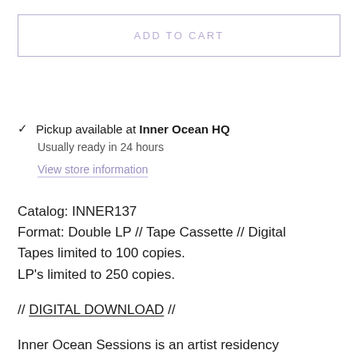ADD TO CART
Pickup available at Inner Ocean HQ
Usually ready in 24 hours
View store information
Catalog: INNER137
Format: Double LP // Tape Cassette // Digital
Tapes limited to 100 copies.
LP's limited to 250 copies.
// DIGITAL DOWNLOAD //
Inner Ocean Sessions is an artist residency